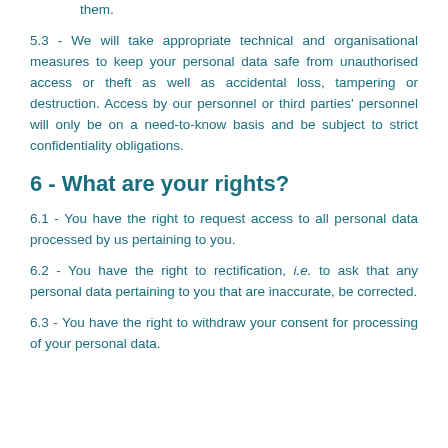administrative order that prevents us from deleting them.
5.3 - We will take appropriate technical and organisational measures to keep your personal data safe from unauthorised access or theft as well as accidental loss, tampering or destruction. Access by our personnel or third parties' personnel will only be on a need-to-know basis and be subject to strict confidentiality obligations.
6 - What are your rights?
6.1 - You have the right to request access to all personal data processed by us pertaining to you.
6.2 - You have the right to rectification, i.e. to ask that any personal data pertaining to you that are inaccurate, be corrected.
6.3 - You have the right to withdraw your consent for processing of your personal data.